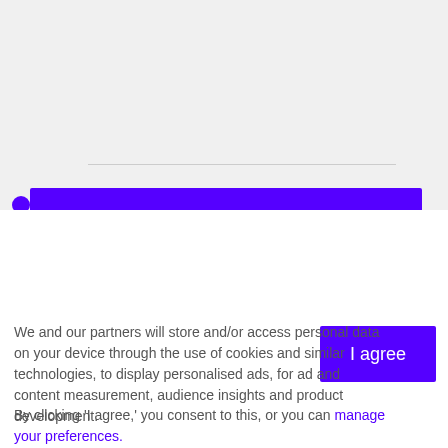Sep 16, 1999
Hurricane Floyd
We and our partners will store and/or access personal data on your device through the use of cookies and similar technologies, to display personalised ads, for ad and content measurement, audience insights and product development.
By clicking 'I agree,' you consent to this, or you can manage your preferences.